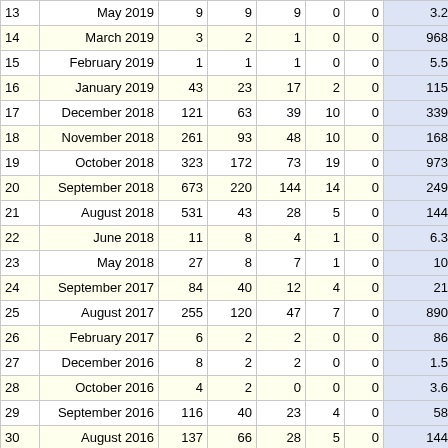|  |  |  |  |  |  |  |  |
| --- | --- | --- | --- | --- | --- | --- | --- |
| 13 | May 2019 | 9 | 9 | 9 | 0 | 0 | 3.2 |
| 14 | March 2019 | 3 | 2 | 1 | 0 | 0 | 968 |
| 15 | February 2019 | 1 | 1 | 1 | 0 | 0 | 5.5 |
| 16 | January 2019 | 43 | 23 | 17 | 2 | 0 | 115 |
| 17 | December 2018 | 121 | 63 | 39 | 10 | 0 | 339 |
| 18 | November 2018 | 261 | 93 | 48 | 10 | 0 | 168 |
| 19 | October 2018 | 323 | 172 | 73 | 19 | 0 | 973 |
| 20 | September 2018 | 673 | 220 | 144 | 14 | 0 | 249 |
| 21 | August 2018 | 531 | 43 | 28 | 5 | 0 | 144 |
| 22 | June 2018 | 11 | 8 | 4 | 1 | 0 | 6.3 |
| 23 | May 2018 | 27 | 8 | 7 | 1 | 0 | 10 |
| 24 | September 2017 | 84 | 40 | 12 | 4 | 0 | 21 |
| 25 | August 2017 | 255 | 120 | 47 | 7 | 0 | 890 |
| 26 | February 2017 | 6 | 2 | 2 | 0 | 0 | 86 |
| 27 | December 2016 | 8 | 2 | 2 | 0 | 0 | 1.5 |
| 28 | October 2016 | 4 | 2 | 0 | 0 | 0 | 3.6 |
| 29 | September 2016 | 116 | 40 | 23 | 4 | 0 | 58 |
| 30 | August 2016 | 137 | 66 | 28 | 5 | 0 | 144 |
| 31 | July 2016 | 422 | 236 | 122 | 25 | 0 | 631 |
| 32 | June 2016 | 511 | 325 | 168 | 36 | 4 | 1.1 M |
| 33 | May 2016 | 158 | 58 | 35 | 8 | 0 | 167 |
| 34 | April 2016 | 1 | 1 | 1 | 0 | 0 | 0 |
| 35 | March 2016 | 9 | 4 | 3 | 1 | 0 | 4.8 |